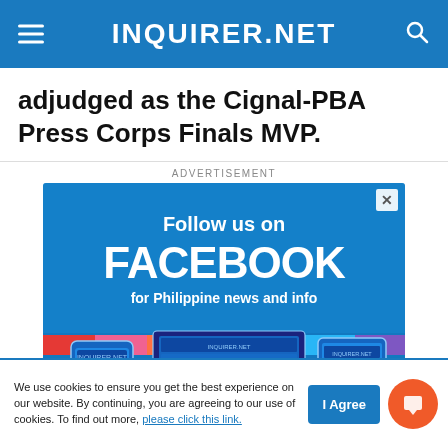INQUIRER.NET
adjudged as the Cignal-PBA Press Corps Finals MVP.
ADVERTISEMENT
[Figure (screenshot): Advertisement banner: 'Follow us on FACEBOOK for Philippine news and info' with rainbow stripe and device screenshots of Inquirer.net, on a blue background.]
We use cookies to ensure you get the best experience on our website. By continuing, you are agreeing to our use of cookies. To find out more, please click this link.